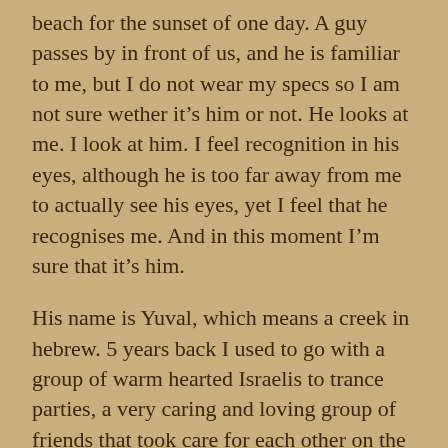beach for the sunset of one day. A guy passes by in front of us, and he is familiar to me, but I do not wear my specs so I am not sure wether it's him or not. He looks at me. I look at him. I feel recognition in his eyes, although he is too far away from me to actually see his eyes, yet I feel that he recognises me. And in this moment I'm sure that it's him.
His name is Yuval, which means a creek in hebrew. 5 years back I used to go with a group of warm hearted Israelis to trance parties, a very caring and loving group of friends that took care for each other on the dance floor through 3-5 days of ongoing tripping. So many moments we used to rave, jump and dance our